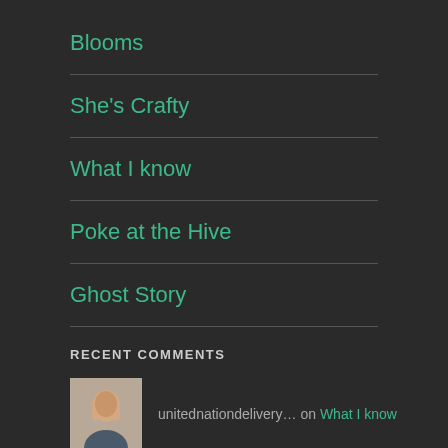Blooms
She's Crafty
What I know
Poke at the Hive
Ghost Story
RECENT COMMENTS
unitednationdelivery… on What I know
unitednationdelivery… on What I know